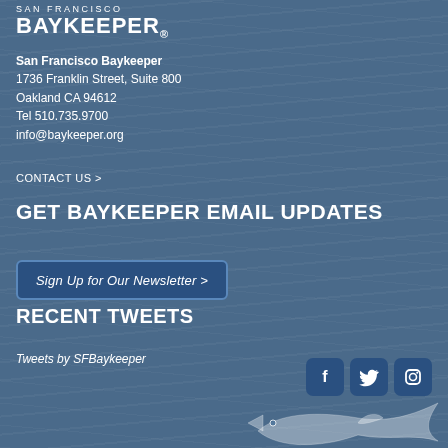SAN FRANCISCO BAYKEEPER®
San Francisco Baykeeper
1736 Franklin Street, Suite 800
Oakland CA 94612
Tel 510.735.9700
info@baykeeper.org
CONTACT US >
GET BAYKEEPER EMAIL UPDATES
Sign Up for Our Newsletter >
RECENT TWEETS
Tweets by SFBaykeeper
[Figure (illustration): Social media icons: Facebook, Twitter, Instagram in dark blue rounded square buttons]
[Figure (illustration): Shark/fish illustration logo at bottom right]